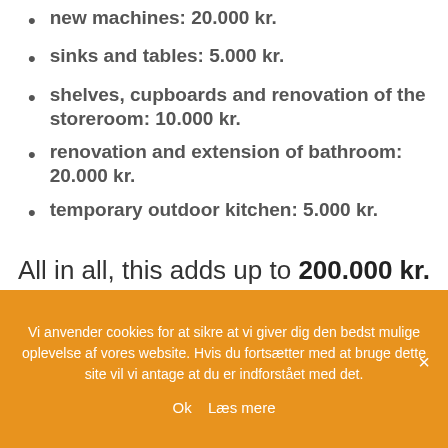new machines: 20.000 kr.
sinks and tables: 5.000 kr.
shelves, cupboards and renovation of the storeroom: 10.000 kr.
renovation and extension of bathroom: 20.000 kr.
temporary outdoor kitchen: 5.000 kr.
All in all, this adds up to 200.000 kr.
Vi anvender cookies for at sikre at vi giver dig den bedst mulige oplevelse af vores website. Hvis du fortsætter med at bruge dette site vil vi antage at du er indforstået med det. Ok Læs mere